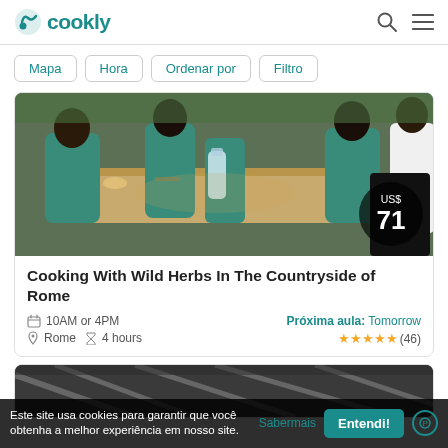cookly
Mapa
Hora
Ordenar por
Filtro
[Figure (photo): People wearing teal aprons working at an outdoor wooden table during a cooking class in the countryside]
Cooking With Wild Herbs In The Countryside of Rome
10AM or 4PM | Rome | 4 hours | Próxima aula: Tomorrow | ★★★★★ (46)
[Figure (photo): Partial view of a second listing card with an outdoor structure]
Este site usa cookies para garantir que você obtenha a melhor experiência em nosso site.